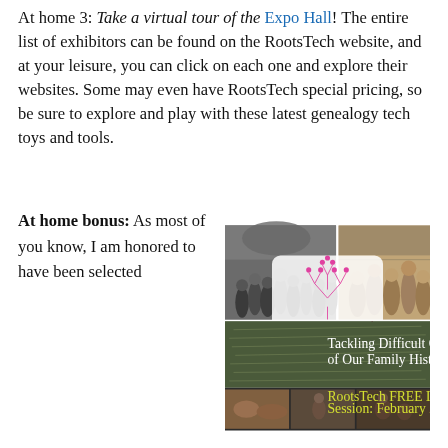At home 3: Take a virtual tour of the Expo Hall! The entire list of exhibitors can be found on the RootsTech website, and at your leisure, you can click on each one and explore their websites. Some may even have RootsTech special pricing, so be sure to explore and play with these latest genealogy tech toys and tools.
At home bonus: As most of you know, I am honored to have been selected
[Figure (photo): Composite promotional image for RootsTech showing: top-left black and white historical crowd photo, top-right historical sepia portrait photo, center RootsTech logo (pink tree icon with 'rootstech' text) on light background, middle section showing handwritten document background with text 'Tackling Difficult Chapters of Our Family History', bottom strip with 'RootsTech FREE Livestream Session: February 27th!' in yellow/green text on dark background with historical photos]